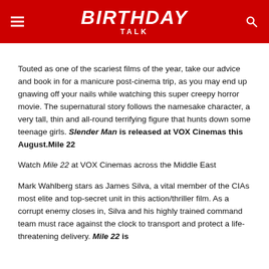BIRTHDAY TALK
Touted as one of the scariest films of the year, take our advice and book in for a manicure post-cinema trip, as you may end up gnawing off your nails while watching this super creepy horror movie. The supernatural story follows the namesake character, a very tall, thin and all-round terrifying figure that hunts down some teenage girls. Slender Man is released at VOX Cinemas this August.Mile 22
Watch Mile 22 at VOX Cinemas across the Middle East
Mark Wahlberg stars as James Silva, a vital member of the CIAs most elite and top-secret unit in this action/thriller film. As a corrupt enemy closes in, Silva and his highly trained command team must race against the clock to transport and protect a life-threatening delivery. Mile 22 is